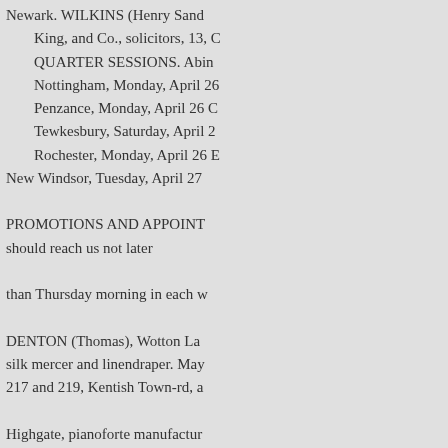Newark. WILKINS (Henry Sand... King, and Co., solicitors, 13, C... QUARTER SESSIONS. Abin... Nottingham, Monday, April 26... Penzance, Monday, April 26 C... Tewkesbury, Saturday, April 2... Rochester, Monday, April 26 E... New Windsor, Tuesday, April 27... PROMOTIONS AND APPOINT... should reach us not later... than Thursday morning in each w... DENTON (Thomas), Wotton La... silk mercer and linendraper. May... 217 and 219, Kentish Town-rd, a... Highgate, pianoforte manufactur... Bedford-row. ELLICOMBE (Ri... H. G. S. Williams, solicitor, 5... Tennant and Jones, solicitors, Ab...